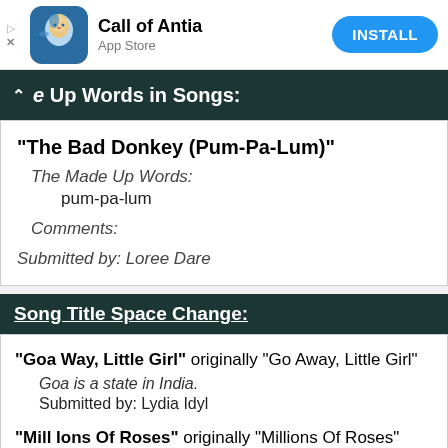[Figure (screenshot): App Store advertisement banner for 'Call of Antia' with app icon, title, subtitle 'App Store', and blue INSTALL button]
e Up Words in Songs:
"The Bad Donkey (Pum-Pa-Lum)"
  The Made Up Words:
    pum-pa-lum
  Comments:
Submitted by: Loree Dare
Song Title Space Change:
"Goa Way, Little Girl" originally "Go Away, Little Girl"
  Goa is a state in India.
  Submitted by: Lydia Idyl
"Mill Ions Of Roses" originally "Millions Of Roses"